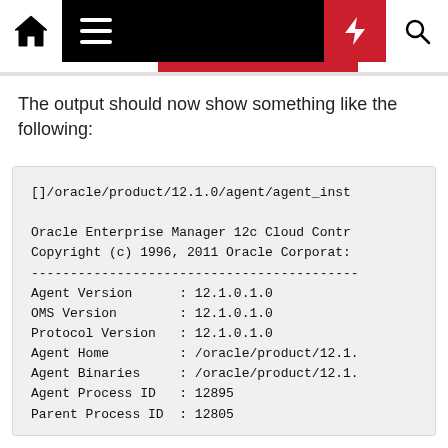Navigation header with home, menu, bolt, and search icons
The output should now show something like the following:
[]/oracle/product/12.1.0/agent/agent_inst

Oracle Enterprise Manager 12c Cloud Contr
Copyright (c) 1996, 2011 Oracle Corporat:
------------------------------------------
Agent Version      : 12.1.0.1.0
OMS Version        : 12.1.0.1.0
Protocol Version   : 12.1.0.1.0
Agent Home         : /oracle/product/12.1.
Agent Binaries     : /oracle/product/12.1.
Agent Process ID   : 12895
Parent Process ID  : 12805